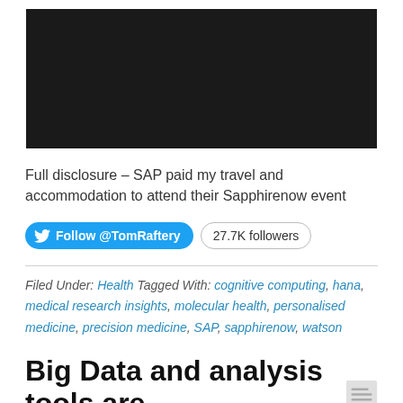[Figure (photo): Dark/black image placeholder at the top of the page]
Full disclosure – SAP paid my travel and accommodation to attend their Sapphirenow event
[Figure (other): Twitter Follow @TomRaftery button with 27.7K followers badge]
Filed Under: Health Tagged With: cognitive computing, hana, medical research insights, molecular health, personalised medicine, precision medicine, SAP, sapphirenow, watson
Big Data and analysis tools are